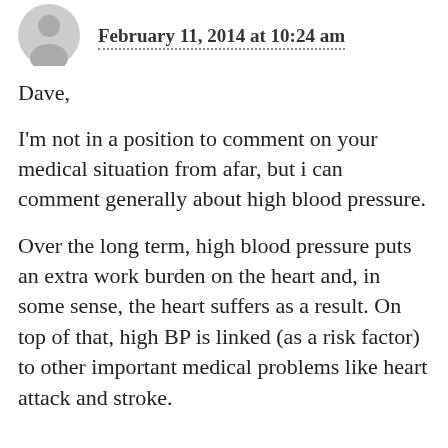February 11, 2014 at 10:24 am
Dave,
I'm not in a position to comment on your medical situation from afar, but i can comment generally about high blood pressure.
Over the long term, high blood pressure puts an extra work burden on the heart and, in some sense, the heart suffers as a result. On top of that, high BP is linked (as a risk factor) to other important medical problems like heart attack and stroke.